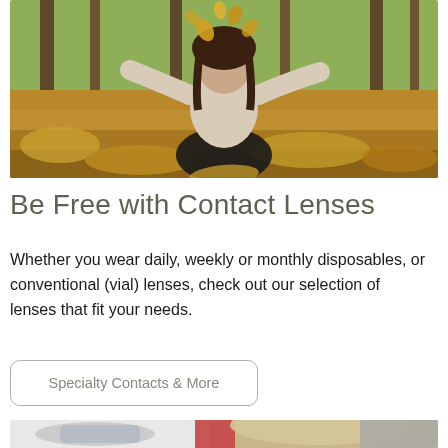[Figure (photo): Woman sitting cross-legged outdoors on autumn leaves, tossing yellow leaves in the air, wearing a beige sweater]
Be Free with Contact Lenses
Whether you wear daily, weekly or monthly disposables, or conventional (vial) lenses, check out our selection of lenses that fit your needs.
Specialty Contacts & More
[Figure (photo): Eye examination scene showing optometry equipment and a patient]